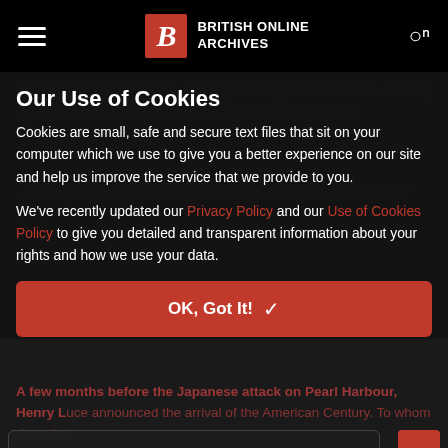BRITISH ONLINE ARCHIVES
Our Use of Cookies
Cookies are small, safe and secure text files that sit on your computer which we use to give you a better experience on our site and help us improve the service that we provide to you.
We've recently updated our Privacy Policy and our Use of Cookies Policy to give you detailed and transparent information about your rights and how we use your data.
OK, Got It! ✓
A few months before the Japanese attack on Pearl Harbour, Henry Luce announced the arrival of the American Century. To whom does the 21st century belong?
Manage Cookies